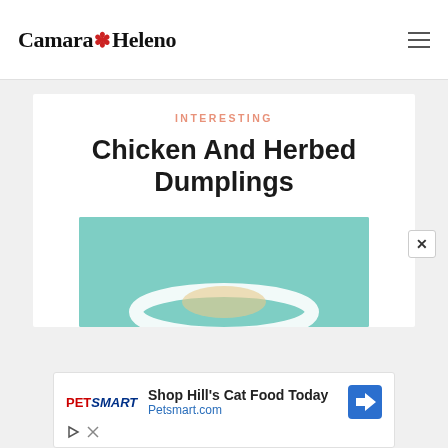Camara Heleno
INTERESTING
Chicken And Herbed Dumplings
[Figure (photo): Food photo showing a bowl with dumplings on a teal/mint green background, cropped at bottom]
[Figure (other): PetSmart advertisement: Shop Hill's Cat Food Today, Petsmart.com with navigation icon]